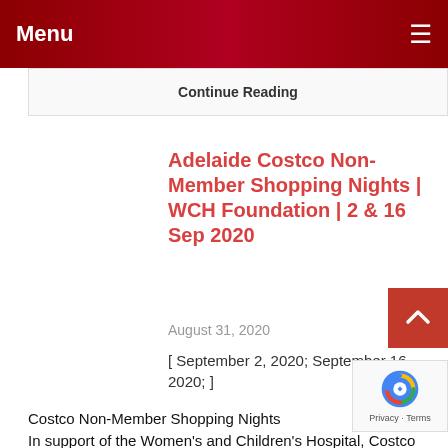Menu
Continue Reading
Adelaide Costco Non-Member Shopping Nights | WCH Foundation | 2 & 16 Sep 2020
August 31, 2020
[ September 2, 2020; September 16, 2020; ]
Costco Non-Member Shopping Nights
In support of the Women's and Children's Hospital, Costco will be opening their doors to non-members for two special evenings in September 2020.
For a $5 donation, non-members can shop at Costco Wednesday 2 September 2020 and Wednesday 16 September 2020 between 3pm and 8pm.